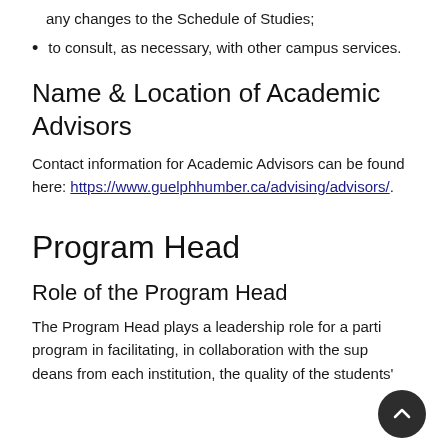any changes to the Schedule of Studies;
to consult, as necessary, with other campus services.
Name & Location of Academic Advisors
Contact information for Academic Advisors can be found here: https://www.guelphhumber.ca/advising/advisors/.
Program Head
Role of the Program Head
The Program Head plays a leadership role for a particular program in facilitating, in collaboration with the supporting deans from each institution, the quality of the students'